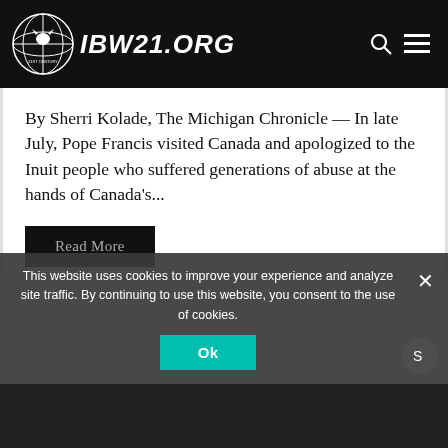IBW21.ORG
By Sherri Kolade, The Michigan Chronicle — In late July, Pope Francis visited Canada and apologized to the Inuit people who suffered generations of abuse at the hands of Canada's...
Read More
This website uses cookies to improve your experience and analyze site traffic. By continuing to use this website, you consent to the use of cookies.
Ok